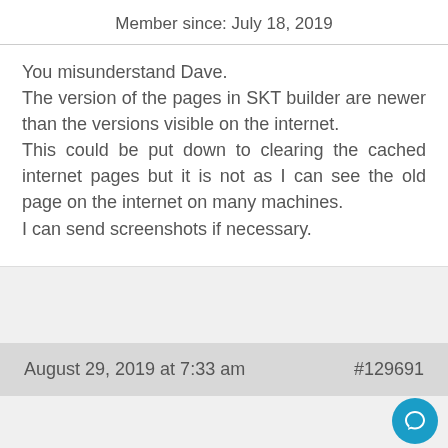Member since: July 18, 2019
You misunderstand Dave.
The version of the pages in SKT builder are newer than the versions visible on the internet.
This could be put down to clearing the cached internet pages but it is not as I can see the old page on the internet on many machines.
I can send screenshots if necessary.
August 29, 2019 at 7:33 am   #129691